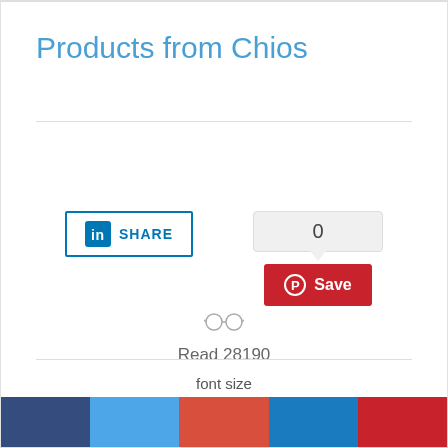Products from Chios
[Figure (screenshot): LinkedIn Share button with blue border and LinkedIn logo]
[Figure (screenshot): Pinterest Save button (red) with count bubble showing 0]
Read 28190
font size
[Figure (infographic): Bottom color bar with five segments: dark blue, light blue, red-orange, medium blue, crimson red]